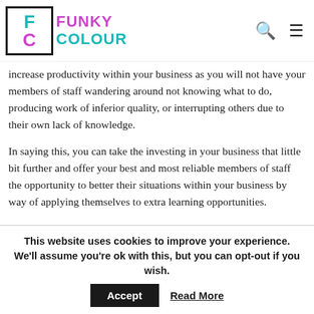Funky Colour
increase productivity within your business as you will not have your members of staff wandering around not knowing what to do, producing work of inferior quality, or interrupting others due to their own lack of knowledge.
In saying this, you can take the investing in your business that little bit further and offer your best and most reliable members of staff the opportunity to better their situations within your business by way of applying themselves to extra learning opportunities.
Also Read: How to increase your cars fuel efficiency
This website uses cookies to improve your experience. We'll assume you're ok with this, but you can opt-out if you wish. Accept Read More